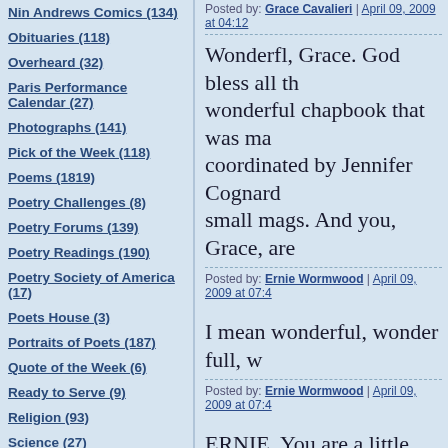Nin Andrews Comics (134)
Obituaries (118)
Overheard (32)
Paris Performance Calendar (27)
Photographs (141)
Pick of the Week (118)
Poems (1819)
Poetry Challenges (8)
Poetry Forums (139)
Poetry Readings (190)
Poetry Society of America (17)
Poets House (3)
Portraits of Poets (187)
Quote of the Week (6)
Ready to Serve (9)
Religion (93)
Science (27)
Scotland (13)
Wonderfl, Grace. God bless all th wonderful chapbook that was ma coordinated by Jennifer Cognard small mags. And you, Grace, are
Posted by: Ernie Wormwood | April 09, 2009 at 07:4
I mean wonderful, wonder full, w
Posted by: Ernie Wormwood | April 09, 2009 at 07:4
ERNIE, You are a little chapbook
Posted by: Grace Cavalieri | April 09, 2009 at 07:43
Thanks, Grace, for this lovely ove up and coming literary journal pu Shovan, Rafael Alvarez, Linda Jo